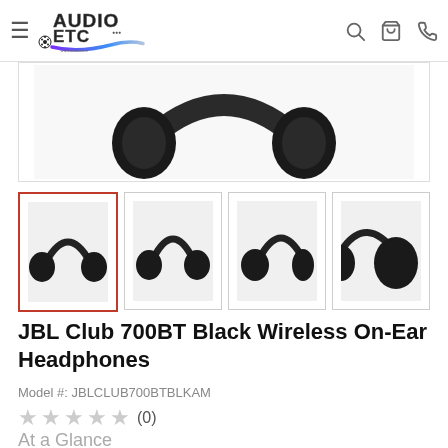Audio ETC logo with hamburger menu, search, cart, and phone icons
[Figure (photo): Close-up top view of JBL Club 700BT black wireless headphones]
[Figure (photo): Thumbnail 1: JBL Club 700BT black headphones front view (selected, red border)]
[Figure (photo): Thumbnail 2: JBL Club 700BT black headphones front view]
[Figure (photo): Thumbnail 3: JBL Club 700BT black headphones side view]
[Figure (photo): Thumbnail 4: JBL Club 700BT black headphones partial view]
JBL Club 700BT Black Wireless On-Ear Headphones
Model #: JBLCLUB700BTBLKAM
★★★★★ (0)
At a Glance